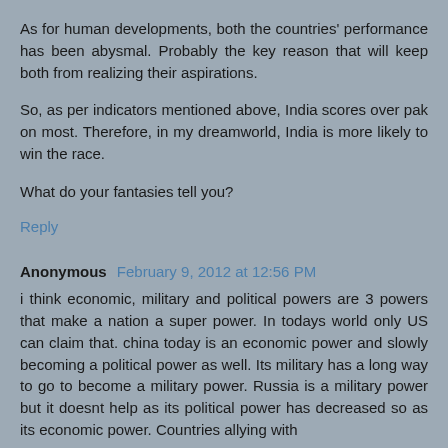As for human developments, both the countries' performance has been abysmal. Probably the key reason that will keep both from realizing their aspirations.
So, as per indicators mentioned above, India scores over pak on most. Therefore, in my dreamworld, India is more likely to win the race.
What do your fantasies tell you?
Reply
Anonymous February 9, 2012 at 12:56 PM
i think economic, military and political powers are 3 powers that make a nation a super power. In todays world only US can claim that. china today is an economic power and slowly becoming a political power as well. Its military has a long way to go to become a military power. Russia is a military power but it doesnt help as its political power has decreased so as its economic power. Countries allying with